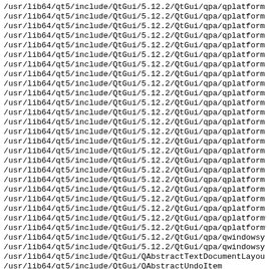/usr/lib64/qt5/include/QtGui/5.12.2/QtGui/qpa/qplatformin
/usr/lib64/qt5/include/QtGui/5.12.2/QtGui/qpa/qplatformin
/usr/lib64/qt5/include/QtGui/5.12.2/QtGui/qpa/qplatformin
/usr/lib64/qt5/include/QtGui/5.12.2/QtGui/qpa/qplatformin
/usr/lib64/qt5/include/QtGui/5.12.2/QtGui/qpa/qplatformin
/usr/lib64/qt5/include/QtGui/5.12.2/QtGui/qpa/qplatformme
/usr/lib64/qt5/include/QtGui/5.12.2/QtGui/qpa/qplatformna
/usr/lib64/qt5/include/QtGui/5.12.2/QtGui/qpa/qplatformot
/usr/lib64/qt5/include/QtGui/5.12.2/QtGui/qpa/qplatformop
/usr/lib64/qt5/include/QtGui/5.12.2/QtGui/qpa/qplatformpi
/usr/lib64/qt5/include/QtGui/5.12.2/QtGui/qpa/qplatformsc
/usr/lib64/qt5/include/QtGui/5.12.2/QtGui/qpa/qplatformsc
/usr/lib64/qt5/include/QtGui/5.12.2/QtGui/qpa/qplatformse
/usr/lib64/qt5/include/QtGui/5.12.2/QtGui/qpa/qplatformse
/usr/lib64/qt5/include/QtGui/5.12.2/QtGui/qpa/qplatformsh
/usr/lib64/qt5/include/QtGui/5.12.2/QtGui/qpa/qplatformsu
/usr/lib64/qt5/include/QtGui/5.12.2/QtGui/qpa/qplatformsy
/usr/lib64/qt5/include/QtGui/5.12.2/QtGui/qpa/qplatformth
/usr/lib64/qt5/include/QtGui/5.12.2/QtGui/qpa/qplatformth
/usr/lib64/qt5/include/QtGui/5.12.2/QtGui/qpa/qplatformth
/usr/lib64/qt5/include/QtGui/5.12.2/QtGui/qpa/qplatformth
/usr/lib64/qt5/include/QtGui/5.12.2/QtGui/qpa/qplatformvu
/usr/lib64/qt5/include/QtGui/5.12.2/QtGui/qpa/qplatformwi
/usr/lib64/qt5/include/QtGui/5.12.2/QtGui/qpa/qplatformwi
/usr/lib64/qt5/include/QtGui/5.12.2/QtGui/qpa/qwindowsyst
/usr/lib64/qt5/include/QtGui/5.12.2/QtGui/qpa/qwindowsyst
/usr/lib64/qt5/include/QtGui/QAbstractTextDocumentLayout
/usr/lib64/qt5/include/QtGui/QAbstractUndoItem
/usr/lib64/qt5/include/QtGui/QAccessible
/usr/lib64/qt5/include/QtGui/QAccessibleActionInterface